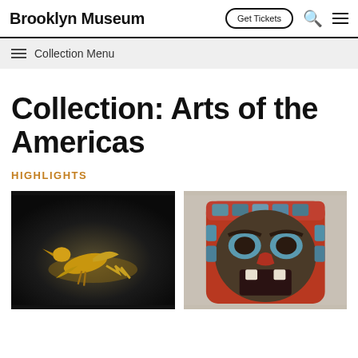Brooklyn Museum | Get Tickets
Collection Menu
Collection: Arts of the Americas
HIGHLIGHTS
[Figure (photo): Gold/bronze figurine sculpture of a reclining human figure with bird-like features on dark background]
[Figure (photo): Colorful indigenous carved mask with abalone shell inlay, red and teal tones, resembling a face with wide eyes]